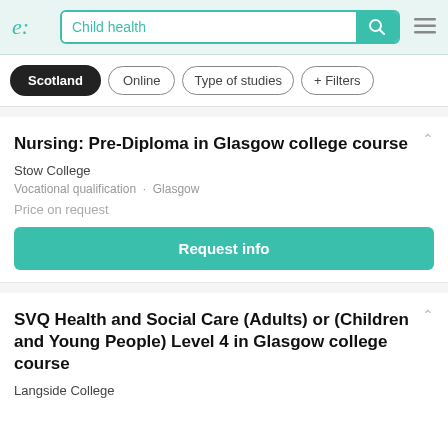e: Child health [search bar]
Scotland · Online · Type of studies · + Filters
Nursing: Pre-Diploma in Glasgow college course
Stow College
Vocational qualification · Glasgow
Price on request
Request info
SVQ Health and Social Care (Adults) or (Children and Young People) Level 4 in Glasgow college course
Langside College